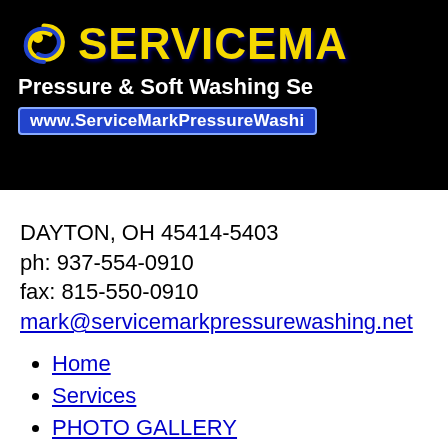[Figure (logo): ServiceMark Pressure & Soft Washing Services logo on black background with yellow text, swirl icon, and website URL www.ServiceMarkPressureWashi...]
DAYTON, OH 45414-5403
ph: 937-554-0910
fax: 815-550-0910
mark@servicemarkpressurewashing.net
Home
Services
PHOTO GALLERY
FAQ
About Us
Contact Us